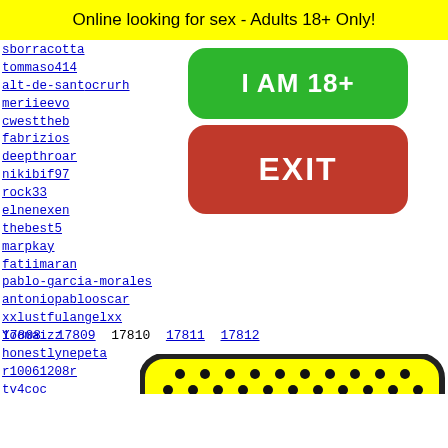Online looking for sex - Adults 18+ Only!
sborracotta
tommaso414
alt-de-santacrurh
meriieevo
cwesttheb
fabrizios
deepthroar
nikibif97
rock33
elnenexen
thebest5
marpkay
fatiimaran
pablo-garcia-morales
antoniopablooscar
xxlustfulangelxx
Yoomaizz
honestlynepeta
r10061208r
tv4coc
leprec
p1peig
fedemo
alaska
bydavi
[Figure (other): Two large rounded buttons overlaid on left column: green 'I AM 18+' button and red 'EXIT' button]
17808 17809 17810 17811 17812
[Figure (illustration): Yellow emoji-like face with black dots pattern and bow tie on yellow background with black rounded border]